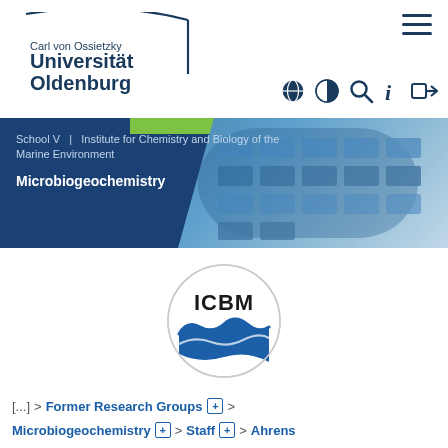Carl von Ossietzky Universität Oldenburg
[Figure (screenshot): Banner image showing School V | Institute for Chemistry and Biology of the Marine Environment / Microbiogeochemistry with a building photo background]
School V   |   Institute for Chemistry and Biology of the Marine Environment
Microbiogeochemistry
[Figure (logo): ICBM logo — circular logo with ICBM text and blue wave graphic]
[...]  >  Former Research Groups  ⊞  >
Microbiogeochemistry  ⊞  >  Staff  ⊞  >  Ahrens